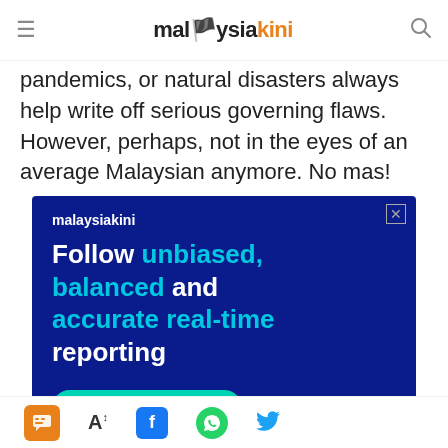malaysiakini
pandemics, or natural disasters always help write off serious governing flaws. However, perhaps, not in the eyes of an average Malaysian anymore. No mas!
[Figure (infographic): Malaysiakini advertisement banner on dark blue background with text: 'Follow unbiased, balanced and accurate real-time reporting' and a 'SUBSCRIBE NOW' button in teal.]
Social sharing toolbar with chat, font size, Facebook, WhatsApp, and Twitter icons